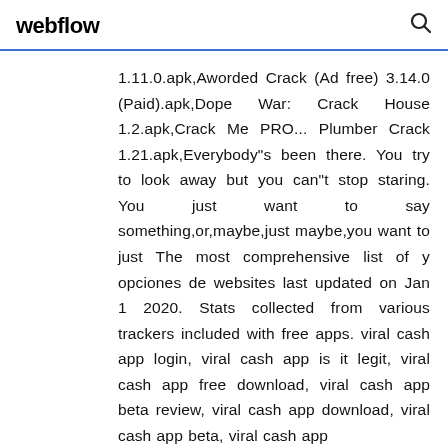webflow
1.11.0.apk,Aworded Crack (Ad free) 3.14.0 (Paid).apk,Dope War: Crack House 1.2.apk,Crack Me PRO... Plumber Crack 1.21.apk,Everybody"s been there. You try to look away but you can"t stop staring. You just want to say something,or,maybe,just maybe,you want to just The most comprehensive list of y opciones de websites last updated on Jan 1 2020. Stats collected from various trackers included with free apps. viral cash app login, viral cash app is it legit, viral cash app free download, viral cash app beta review, viral cash app download, viral cash app beta, viral cash app